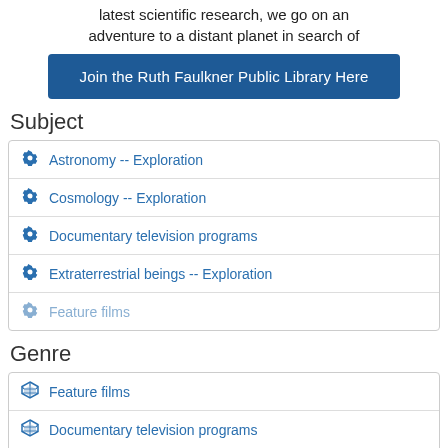latest scientific research, we go on an adventure to a distant planet in search of
Join the Ruth Faulkner Public Library Here
Subject
Astronomy -- Exploration
Cosmology -- Exploration
Documentary television programs
Extraterrestrial beings -- Exploration
Feature films
Genre
Feature films
Documentary television programs
Video recordings for the hearing impaired